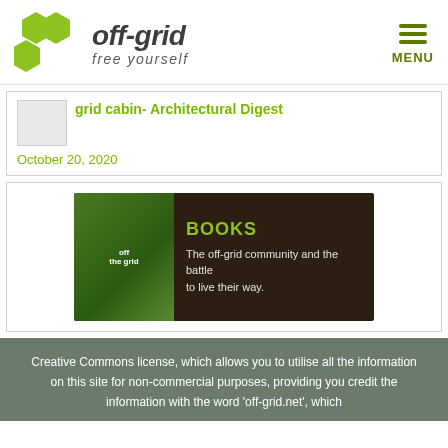off-grid free yourself
grid cabin- Architectural Digest
October 20, 2020
[Figure (illustration): Books banner: dark brown background with book covers on left showing 'off the grid' text, and on right green bold text 'BOOKS' followed by 'The off-grid community and the battle to live their way.']
Creative Commons license, which allows you to utilise all the information on this site for non-commercial purposes, providing you credit the information with the word 'off-grid.net', which